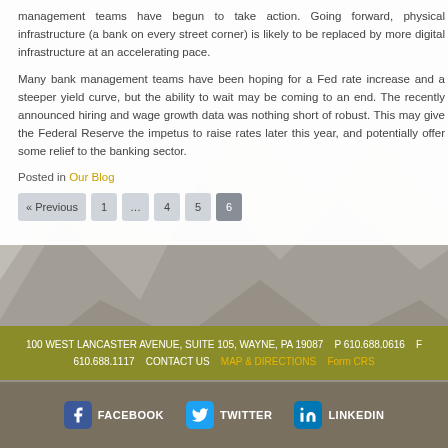management teams have begun to take action. Going forward, physical infrastructure (a bank on every street corner) is likely to be replaced by more digital infrastructure at an accelerating pace.
Many bank management teams have been hoping for a Fed rate increase and a steeper yield curve, but the ability to wait may be coming to an end. The recently announced hiring and wage growth data was nothing short of robust. This may give the Federal Reserve the impetus to raise rates later this year, and potentially offer some relief to the banking sector.
Posted in Our Blog
« Previous  1  ...  4  5  6
100 WEST LANCASTER AVENUE, SUITE 105, WAYNE, PA 19087   P 610.688.0616   F 610.688.1117   CONTACT US   MAP & DIRECTIONS   Form CRS
FACEBOOK   TWITTER   LINKEDIN